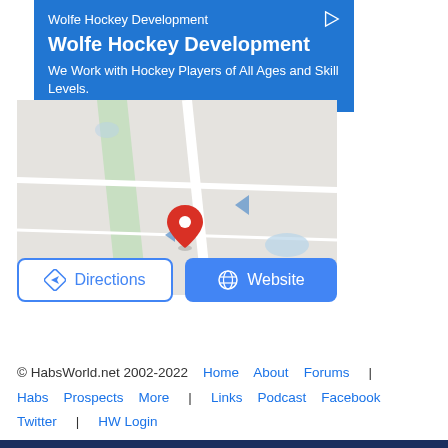[Figure (screenshot): Advertisement banner for Wolfe Hockey Development on blue background with title and subtitle text]
[Figure (map): Google Maps snippet showing a location with a red map pin marker, green area, and road layouts]
[Figure (other): Two buttons: Directions (white with blue border and diamond icon) and Website (blue with globe icon)]
© HabsWorld.net 2002-2022  Home  About  Forums  |  Habs  Prospects  More  |  Links  Podcast  Facebook  Twitter  |  HW Login